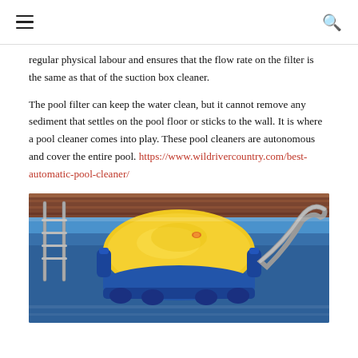≡  🔍
regular physical labour and ensures that the flow rate on the filter is the same as that of the suction box cleaner.
The pool filter can keep the water clean, but it cannot remove any sediment that settles on the pool floor or sticks to the wall. It is where a pool cleaner comes into play. These pool cleaners are autonomous and cover the entire pool. https://www.wildrivercountry.com/best-automatic-pool-cleaner/
[Figure (photo): A yellow and blue robotic automatic pool cleaner sitting on the edge of a swimming pool with pool ladder and hose visible]